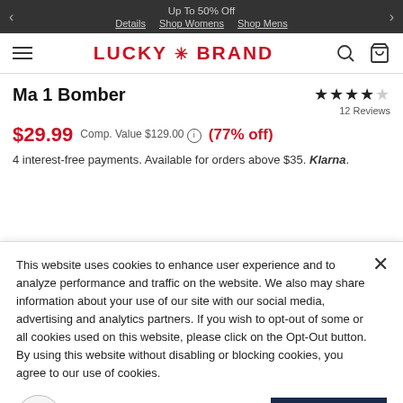Up To 50% Off
Details  Shop Womens  Shop Mens
[Figure (logo): Lucky Brand logo with red text and asterisk symbol]
Ma 1 Bomber
★★★★☆ 12 Reviews
$29.99  Comp. Value $129.00 ⓘ  (77% off)
4 interest-free payments. Available for orders above $35. Klarna.
This website uses cookies to enhance user experience and to analyze performance and traffic on the website. We also may share information about your use of our site with our social media, advertising and analytics partners. If you wish to opt-out of some or all cookies used on this website, please click on the Opt-Out button. By using this website without disabling or blocking cookies, you agree to our use of cookies.